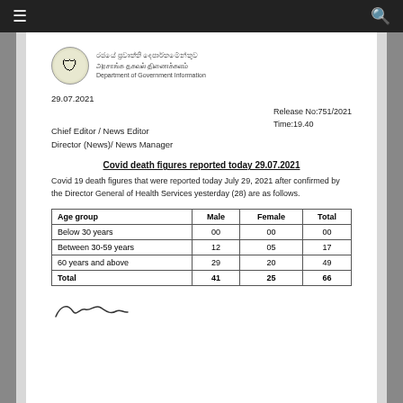[Figure (logo): Sri Lanka government coat of arms / Department of Government Information logo with Sinhala, Tamil, and English text]
29.07.2021
Release No:751/2021
Time:19.40
Chief Editor / News Editor
Director (News)/ News Manager
Covid death figures reported today 29.07.2021
Covid 19 death figures that were reported today July 29, 2021 after confirmed by the Director General of Health Services yesterday (28) are as follows.
| Age group | Male | Female | Total |
| --- | --- | --- | --- |
| Below 30 years | 00 | 00 | 00 |
| Between 30-59 years | 12 | 05 | 17 |
| 60 years and above | 29 | 20 | 49 |
| Total | 41 | 25 | 66 |
[Figure (illustration): Handwritten signature]